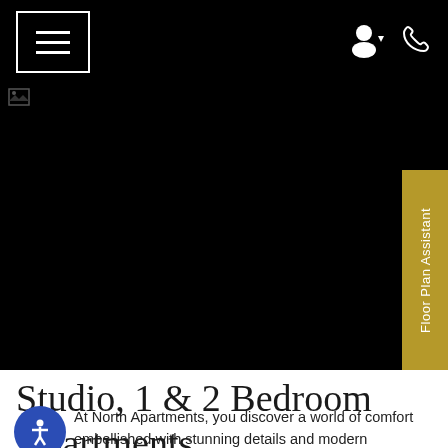Navigation bar with menu button and icons
[Figure (photo): Dark/black hero image area with a small image placeholder icon in the top-left corner. A gold vertical tab labeled 'Floor Plan Assistant' is on the right side.]
Studio, 1 & 2 Bedroom Apartments
At North Apartments, you discover a world of comfort embellished with stunning details and modern features! Our studio, one, and two-bedroom apartments